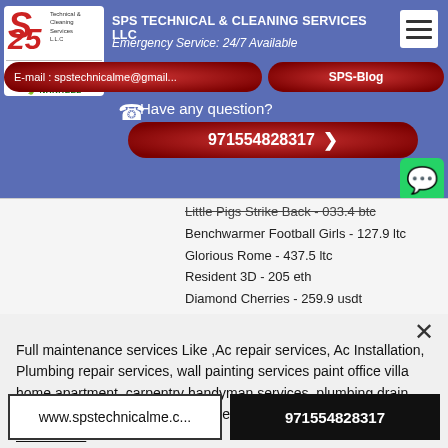[Figure (screenshot): SPS Technical & Cleaning Services LLC website header banner with logo, company name, emergency service text, email and blog buttons, phone number, and WhatsApp button]
Little Pigs Strike Back - 033.4 btc
Benchwarmer Football Girls - 127.9 ltc
Glorious Rome - 437.5 ltc
Resident 3D - 205 eth
Diamond Cherries - 259.9 usdt
Full maintenance services Like ,Ac repair services, Ac Installation, Plumbing repair services, wall painting services paint office villa home apartment, carpentry handyman services ,plumbing drain cleaning , all kind discount % price Sps give a best services in Your Twon
www.spstechnicalme.c...
971554828317